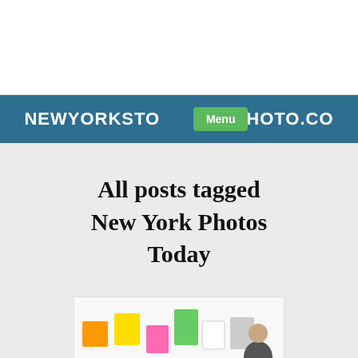NEWYORKSTO[Menu]PHOTO.CO
All posts tagged New York Photos Today
[Figure (photo): Partial view of a photo showing colorful sticky notes and a person, bottom portion visible]